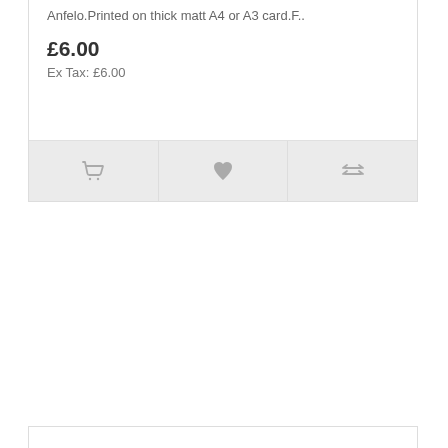Anfelo.Printed on thick matt A4 or A3 card.F..
£6.00
Ex Tax: £6.00
[Figure (illustration): Three action icons: shopping cart, heart/wishlist, and compare (two horizontal lines)]
[Figure (photo): Product image of postcards set - black and white postcards fanned out with a red diagonal banner reading SET OF 5 PRINTS, plus a red stamp in top right corner]
Postcards - Set: Black & White
A set of 5 A6 postcards by Doctor Anfelo.This set consists of 5 pieces in Black & White - some R..
£5.00  £10.00
Ex Tax: £5.00